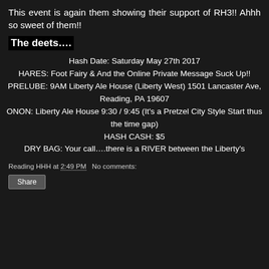This event is again them showing their support of RH3!! Ahhh so sweet of them!!
The deets….
Hash Date: Saturday May 27th 2017
HARES: Foot Fairy & And the Online Private Message Suck Up!!
PRELUBE: 9AM Liberty Ale House (Liberty West) 1501 Lancaster Ave, Reading, PA 19607
ONON: Liberty Ale House 9:30 / 9:45 (It's a Pretzel City Style Start thus the time gap)
HASH CASH: $5
DRY BAG: Your call….there is a RIVER between the Liberty's
Reading HHH at 2:49 PM   No comments:
Share